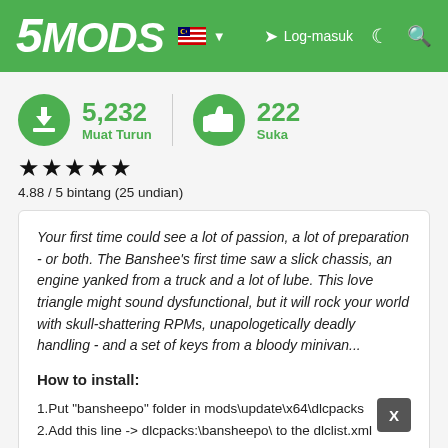5MODS | Log-masuk
5,232 Muat Turun | 222 Suka
4.88 / 5 bintang (25 undian)
Your first time could see a lot of passion, a lot of preparation - or both. The Banshee's first time saw a slick chassis, an engine yanked from a truck and a lot of lube. This love triangle might sound dysfunctional, but it will rock your world with skull-shattering RPMs, unapologetically deadly handling - and a set of keys from a bloody minivan...
How to install:
1.Put "bansheepo" folder in mods\update\x64\dlcpacks
2.Add this line -> dlcpacks:\bansheepo\ to the dlclist.xml (mods\update\update.rpf\common\data)